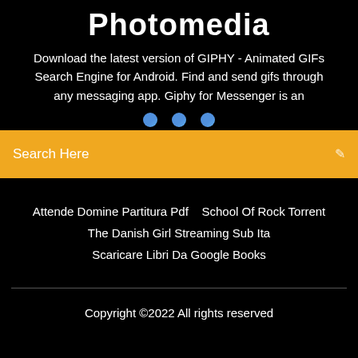Photomedia
Download the latest version of GIPHY - Animated GIFs Search Engine for Android. Find and send gifs through any messaging app. Giphy for Messenger is an
[Figure (illustration): Three blue circular dots/icons in a row]
Search Here
Attende Domine Partitura Pdf   School Of Rock Torrent
The Danish Girl Streaming Sub Ita
Scaricare Libri Da Google Books
Copyright ©2022 All rights reserved